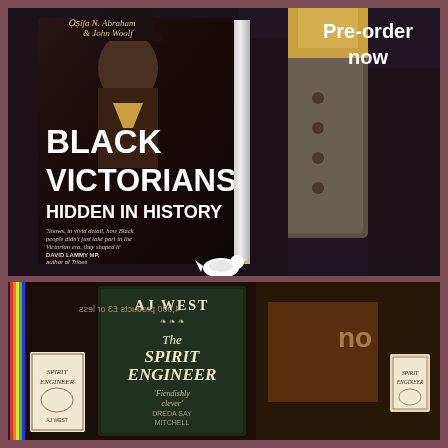[Figure (photo): Book cover of 'Black Victorians Hidden in History' by Osifa N. Abraham and John Woolf, shown standing upright against a dark background. Cover features a Black man in Victorian dress. White duck publisher logo at bottom. 'Pre-order now' text in top right corner.]
[Figure (photo): Bookshop window display showing 'The Spirit Engineer' by A.J. West, with a small 'Spirit Engineer' book cover visible on the left, and a shop window reflection on the right showing reversed text '4,000 products £3 or less'.]